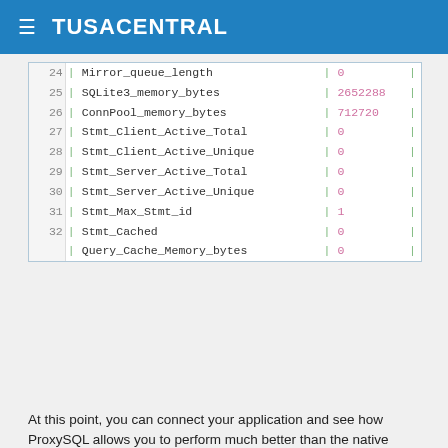≡ TUSACENTRAL
| # | | | Variable | | | Value | | |
| --- | --- | --- | --- | --- | --- |
| 24 | | | Mirror_queue_length | | | 0 | | |
| 25 | | | SQLite3_memory_bytes | | | 2652288 | | |
| 26 | | | ConnPool_memory_bytes | | | 712720 | | |
| 27 | | | Stmt_Client_Active_Total | | | 0 | | |
| 28 | | | Stmt_Client_Active_Unique | | | 0 | | |
| 29 | | | Stmt_Server_Active_Total | | | 0 | | |
| 30 | | | Stmt_Server_Active_Unique | | | 0 | | |
| 31 | | | Stmt_Max_Stmt_id | | | 1 | | |
| 32 | | | Stmt_Cached | | | 0 | | |
|  | | | Query_Cache_Memory_bytes | | | 0 | | |
At this point, you can connect your application and see how ProxySQL allows you to perform much better than the native